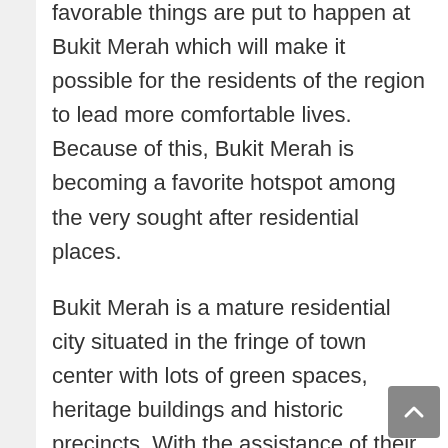favorable things are put to happen at Bukit Merah which will make it possible for the residents of the region to lead more comfortable lives. Because of this, Bukit Merah is becoming a favorite hotspot among the very sought after residential places.
Bukit Merah is a mature residential city situated in the fringe of town center with lots of green spaces, heritage buildings and historic precincts. With the assistance of their newest advancements, families awaiting enjoying the conveniences of a property that is mature is now able to visit the destination. The prospective residents of Bukit Merah can readily access a broad array of facilities all at a walking distance upon execution of the URA